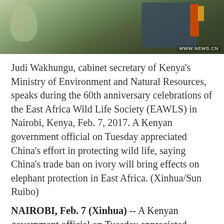[Figure (photo): Photo of Judi Wakhungu speaking at an event, with machinery visible in the background. Watermark: WWW.NEWS.CN]
Judi Wakhungu, cabinet secretary of Kenya's Ministry of Environment and Natural Resources, speaks during the 60th anniversary celebrations of the East Africa Wild Life Society (EAWLS) in Nairobi, Kenya, Feb. 7, 2017. A Kenyan government official on Tuesday appreciated China's effort in protecting wild life, saying China's trade ban on ivory will bring effects on elephant protection in East Africa. (Xinhua/Sun Ruibo)
NAIROBI, Feb. 7 (Xinhua) -- A Kenyan government official on Tuesday appreciated China's effort in protecting wild life, saying China's trade ban on ivory will bring effects on elephant protection in East Africa.